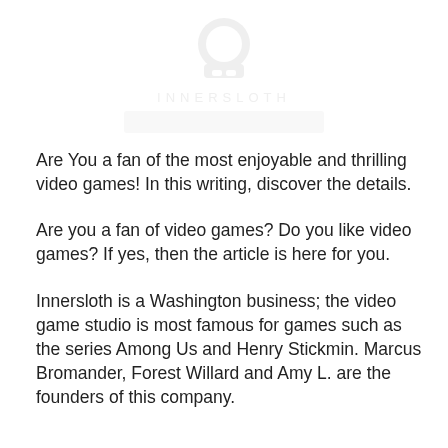[Figure (logo): Innersloth watermark logo with icon, INNERSLOTH text in spaced letters, and a blurred/redacted banner below]
Are You a fan of the most enjoyable and thrilling video games! In this writing, discover the details.
Are you a fan of video games? Do you like video games? If yes, then the article is here for you.
Innersloth is a Washington business; the video game studio is most famous for games such as the series Among Us and Henry Stickmin. Marcus Bromander, Forest Willard and Amy L. are the founders of this company.